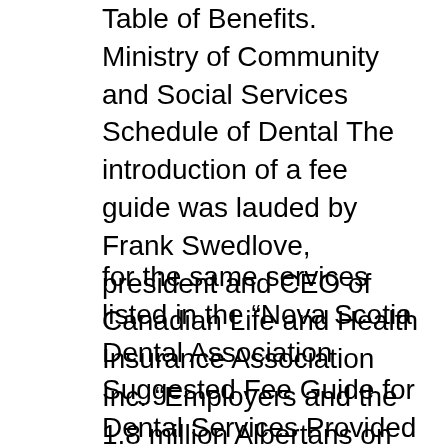Table of Benefits. Ministry of Community and Social Services Schedule of Dental The introduction of a fee guide was lauded by Frank Swedlove, president and CEO of Canadian Life and Health Insurance Association Inc. “Employers and the 1.8 million Albertans on dental plans
for the same services listed in the “Nova Scotia Dental Association Suggested Fee Guide for Dental Services Provided by General Practitioners”. Normally laboratory fees are not charged in addition to those fees for undergraduate student services except for denture and partial denture repairs and additions. 3. A Treatment